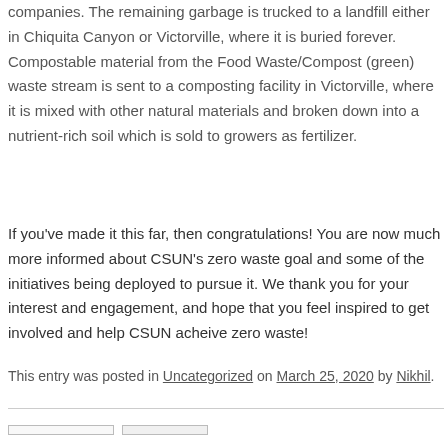companies. The remaining garbage is trucked to a landfill either in Chiquita Canyon or Victorville, where it is buried forever. Compostable material from the Food Waste/Compost (green) waste stream is sent to a composting facility in Victorville, where it is mixed with other natural materials and broken down into a nutrient-rich soil which is sold to growers as fertilizer.
If you've made it this far, then congratulations! You are now much more informed about CSUN's zero waste goal and some of the initiatives being deployed to pursue it. We thank you for your interest and engagement, and hope that you feel inspired to get involved and help CSUN acheive zero waste!
This entry was posted in Uncategorized on March 25, 2020 by Nikhil.